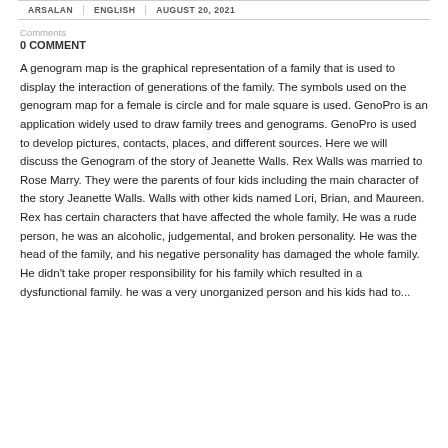ARSALAN | ENGLISH | AUGUST 20, 2021
Comments
0 COMMENT
A genogram map is the graphical representation of a family that is used to display the interaction of generations of the family. The symbols used on the genogram map for a female is circle and for male square is used. GenoPro is an application widely used to draw family trees and genograms. GenoPro is used to develop pictures, contacts, places, and different sources. Here we will discuss the Genogram of the story of Jeanette Walls. Rex Walls was married to Rose Marry. They were the parents of four kids including the main character of the story Jeanette Walls. Walls with other kids named Lori, Brian, and Maureen. Rex has certain characters that have affected the whole family. He was a rude person, he was an alcoholic, judgemental, and broken personality. He was the head of the family, and his negative personality has damaged the whole family. He didn't take proper responsibility for his family which resulted in a dysfunctional family. he was a very unorganized person and his kids had to...